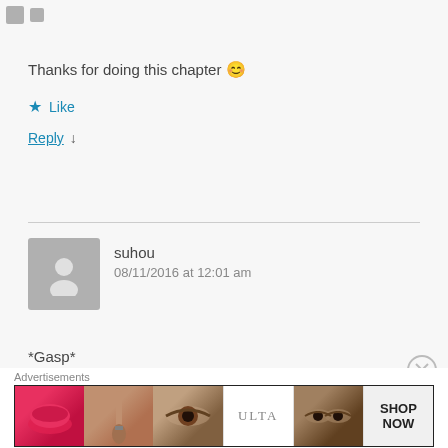[Figure (other): Two small grey icon squares at top left]
Thanks for doing this chapter 😊
★ Like
Reply ↓
suhou
08/11/2016 at 12:01 am
*Gasp*
Non virgin harem candidate in a japanese novel!?
[Figure (other): Advertisement banner: Ulta Beauty cosmetics ad with makeup images and SHOP NOW]
Advertisements